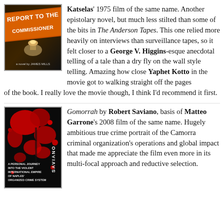[Figure (photo): Book cover of 'Report to the Commissioner, a novel by James Mills' — dark cover with orange title text and a lamp/siren image]
Katselas' 1975 film of the same name. Another epistolary novel, but much less stilted than some of the bits in The Anderson Tapes. This one relied more heavily on interviews than surveillance tapes, so it felt closer to a George V. Higgins-esque anecdotal telling of a tale than a dry fly on the wall style telling. Amazing how close Yaphet Kotto in the movie got to walking straight off the pages of the book. I really love the movie though, I think I'd recommend it first.
[Figure (photo): Book cover of 'Gomorrah' by Roberto Saviano — dark cover with red blood splatter and text about Naples organized crime]
Gomorrah by Robert Saviano, basis of Matteo Garrone's 2008 film of the same name. Hugely ambitious true crime portrait of the Camorra criminal organization's operations and global impact that made me appreciate the film even more in its multi-focal approach and reductive selection.